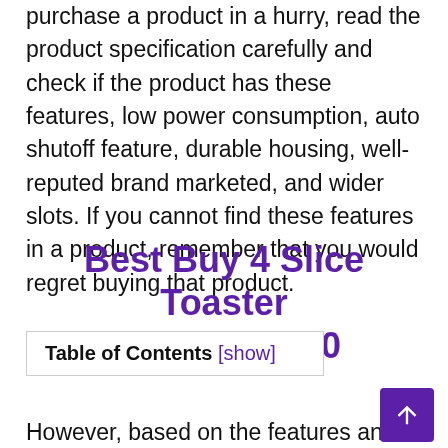purchase a product in a hurry, read the product specification carefully and check if the product has these features, low power consumption, auto shutoff feature, durable housing, well-reputed brand marketed, and wider slots. If you cannot find these features in a product, remember that you would regret buying that product.
Best Buy 4 Slice Toaster Reviews 2020
Table of Contents [show]
However, based on the features and top